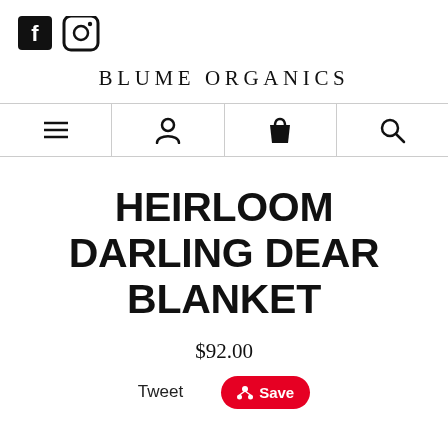[Figure (logo): Facebook and Instagram social media icons (black square Facebook icon and Instagram camera icon)]
BLUME ORGANICS
[Figure (infographic): Navigation bar with four icons: hamburger menu, user/person icon, shopping bag/cart icon, and search/magnifying glass icon, separated by vertical lines]
HEIRLOOM DARLING DEAR BLANKET
$92.00
Tweet  Save